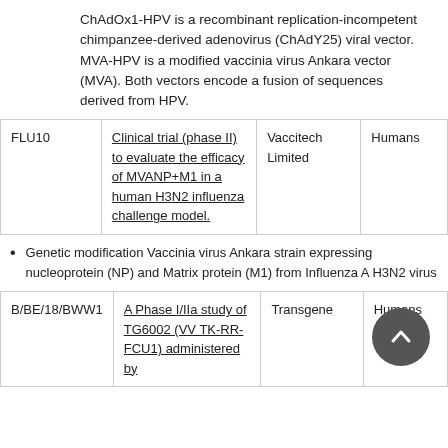ChAdOx1-HPV is a recombinant replication-incompetent chimpanzee-derived adenovirus (ChAdY25) viral vector. MVA-HPV is a modified vaccinia virus Ankara vector (MVA). Both vectors encode a fusion of sequences derived from HPV.
|  |  |  |  |
| --- | --- | --- | --- |
| FLU10 | Clinical trial (phase II) to evaluate the efficacy of MVANP+M1 in a human H3N2 influenza challenge model. | Vaccitech Limited | Humans |
Genetic modification Vaccinia virus Ankara strain expressing nucleoprotein (NP) and Matrix protein (M1) from Influenza A H3N2 virus
|  |  |  |  |
| --- | --- | --- | --- |
| B/BE/18/BWW1 | A Phase I/IIa study of TG6002 (VV TK-RR-FCU1) administered by | Transgene | Humans |